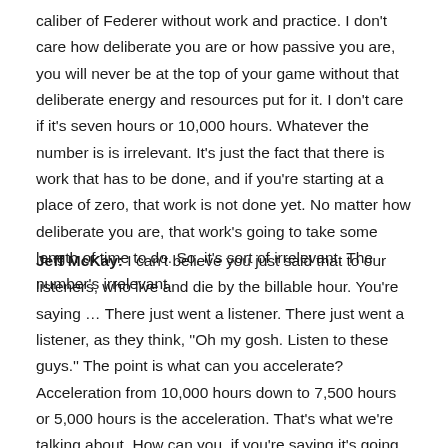caliber of Federer without work and practice. I don't care how deliberate you are or how passive you are, you will never be at the top of your game without that deliberate energy and resources put for it. I don't care if it's seven hours or 10,000 hours. Whatever the number is is irrelevant. It's just the fact that there is work that has to be done, and if you're starting at a place of zero, that work is not done yet. No matter how deliberate you are, that work's going to take some length of time to do. So, it's sort of irrelevant. The number's irrelevant.
Jeff McKay: I can't believe you just said that to our listeners, who live and die by the billable hour. You're saying … There just went a listener. There just went a listener, as they think, ''Oh my gosh. Listen to these guys.'' The point is what can you accelerate? Acceleration from 10,000 hours down to 7,500 hours or 5,000 hours is the acceleration. That's what we're talking about. How can you, if you're saying it's going to take you 10,000 hours, how can I get it down less? There are ways. If you want to serve like Federer, you need a coach